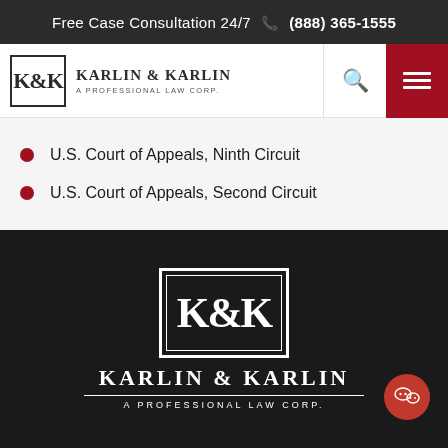Free Case Consultation 24/7 (888) 365-1555
[Figure (logo): Karlin & Karlin A Professional Law Corp logo with K&K monogram in bordered box]
U.S. Court of Appeals, Ninth Circuit
U.S. Court of Appeals, Second Circuit
[Figure (logo): Karlin & Karlin A Professional Law Corp footer logo in white on dark background with K&K monogram]